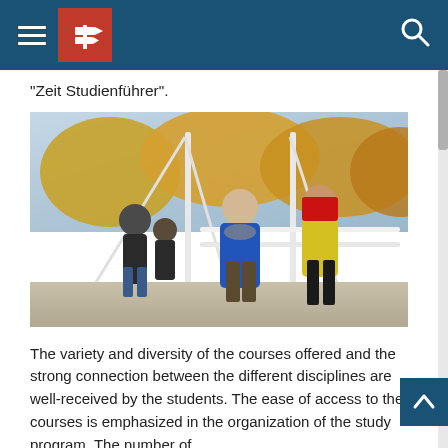Navigation bar with hamburger menu, logo, and search icon
"Zeit Studienführer".
[Figure (photo): Three students walking on a white pedestrian bridge with autumn trees in the background. One person wears a blue coat, another a yellow jacket, and a third is in the background.]
The variety and diversity of the courses offered and the strong connection between the different disciplines are well-received by the students. The ease of access to the courses is emphasized in the organization of the study program. The number of